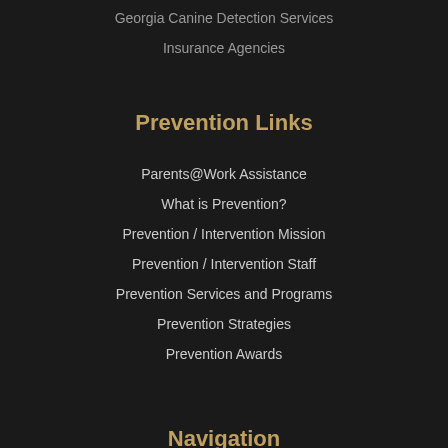Georgia Canine Detection Services
Insurance Agencies
Prevention Links
Parents@Work Assistance
What is Prevention?
Prevention / Intervention Mission
Prevention / Intervention Staff
Prevention Services and Programs
Prevention Strategies
Prevention Awards
Navigation